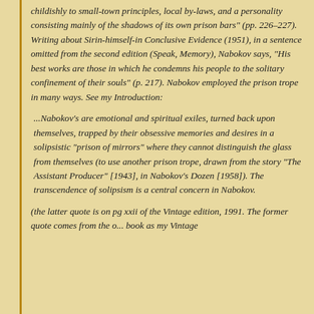childishly to small-town principles, local by-laws, and a personality consisting mainly of the shadows of its own prison bars" (pp. 226–227). Writing about Sirin-himself-in Conclusive Evidence (1951), in a sentence omitted from the second edition (Speak, Memory), Nabokov says, "His best works are those in which he condemns his people to the solitary confinement of their souls" (p. 217). Nabokov employed the prison trope in many ways. See my Introduction:
...Nabokov's are emotional and spiritual exiles, turned back upon themselves, trapped by their obsessive memories and desires in a solipsistic "prison of mirrors" where they cannot distinguish the glass from themselves (to use another prison trope, drawn from the story "The Assistant Producer" [1943], in Nabokov's Dozen [1958]). The transcendence of solipsism is a central concern in Nabokov.
(the latter quote is on pg xxii of the Vintage edition, 1991. The former quote comes from the o... book as my Vintage